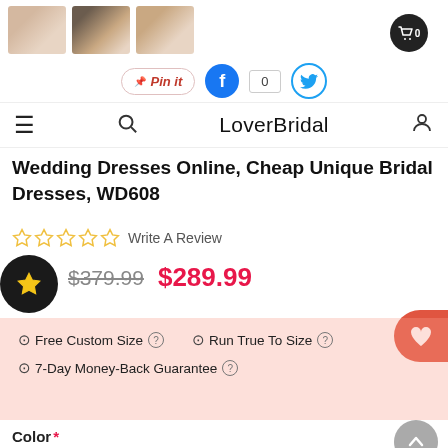[Figure (screenshot): E-commerce website screenshot for LoverBridal showing product page for Wedding Dresses Online, Cheap Unique Bridal Dresses WD608]
LoverBridal
Wedding Dresses Online, Cheap Unique Bridal Dresses, WD608
Write A Review
$379.99  $289.99
Free Custom Size  Run True To Size  7-Day Money-Back Guarantee
Color *
Size  Size Chart
Select Size